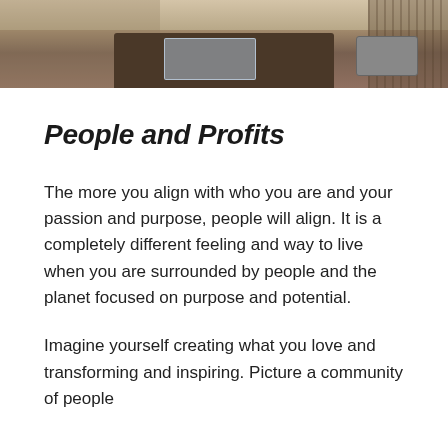[Figure (photo): Cropped photo showing a dark wood coffee table with glass top and objects including a laptop, viewed from above in an interior setting with warm wood flooring.]
People and Profits
The more you align with who you are and your passion and purpose, people will align. It is a completely different feeling and way to live when you are surrounded by people and the planet focused on purpose and potential.
Imagine yourself creating what you love and transforming and inspiring. Picture a community of people